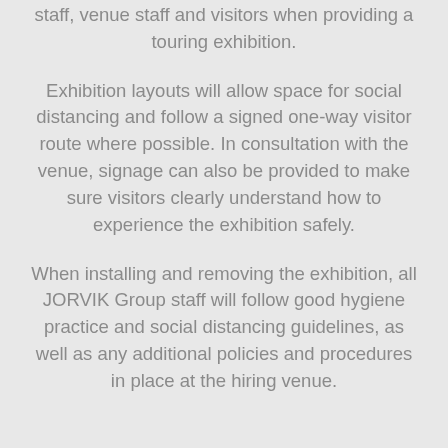staff, venue staff and visitors when providing a touring exhibition.
Exhibition layouts will allow space for social distancing and follow a signed one-way visitor route where possible. In consultation with the venue, signage can also be provided to make sure visitors clearly understand how to experience the exhibition safely.
When installing and removing the exhibition, all JORVIK Group staff will follow good hygiene practice and social distancing guidelines, as well as any additional policies and procedures in place at the hiring venue.